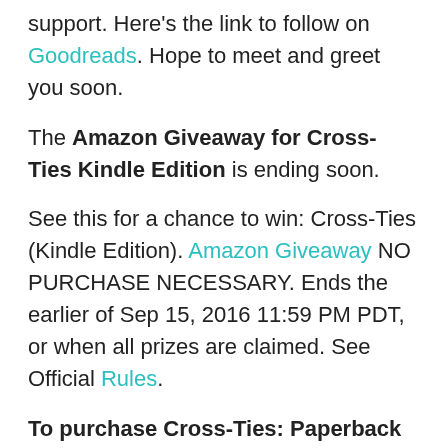support. Here's the link to follow on Goodreads. Hope to meet and greet you soon.
The Amazon Giveaway for Cross-Ties Kindle Edition is ending soon.
See this for a chance to win: Cross-Ties (Kindle Edition). Amazon Giveaway NO PURCHASE NECESSARY. Ends the earlier of Sep 15, 2016 11:59 PM PDT, or when all prizes are claimed. See Official Rules.
To purchase Cross-Ties: Paperback or Kindle Amazon
Reviewers Wanted: If you're the real deal, reader/reviewer and would like a copy of my